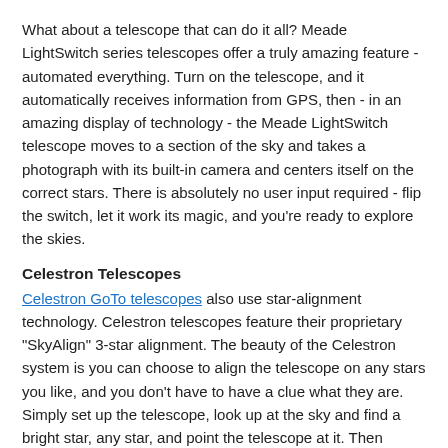What about a telescope that can do it all? Meade LightSwitch series telescopes offer a truly amazing feature - automated everything. Turn on the telescope, and it automatically receives information from GPS, then - in an amazing display of technology - the Meade LightSwitch telescope moves to a section of the sky and takes a photograph with its built-in camera and centers itself on the correct stars. There is absolutely no user input required - flip the switch, let it work its magic, and you're ready to explore the skies.
Celestron Telescopes
Celestron GoTo telescopes also use star-alignment technology. Celestron telescopes feature their proprietary "SkyAlign" 3-star alignment. The beauty of the Celestron system is you can choose to align the telescope on any stars you like, and you don't have to have a clue what they are. Simply set up the telescope, look up at the sky and find a bright star, any star, and point the telescope at it. Then select another, and finally a third. The telescope automatically calculates which stars you selected and aligns the telescope quickly and correctly. The popular Celestron NexStar SE series telescopes and Celestron SLT Series Telescopes feature this technology. SkyAlign is also featured in the Celestron CPC telescopes, with the addition of GPS for automatic location, date, and time.
Many Celestron telescopes, like the Celestron CGEM series or